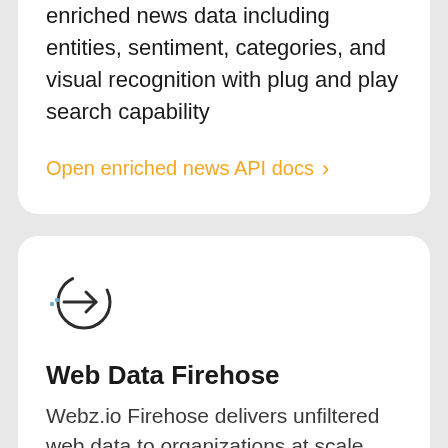enriched news data including entities, sentiment, categories, and visual recognition with plug and play search capability
Open enriched news API docs ›
[Figure (illustration): Circular arrow icon pointing right, styled as a thin dark circle with an arrow inside pointing right and small dots on the left side]
Web Data Firehose
Webz.io Firehose delivers unfiltered web data to organizations at scale.